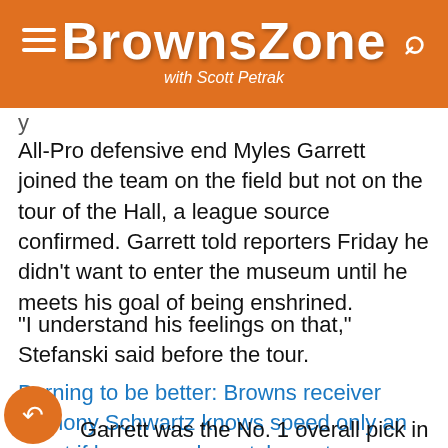BrownsZone with Scott Petrak
All-Pro defensive end Myles Garrett joined the team on the field but not on the tour of the Hall, a league source confirmed. Garrett told reporters Friday he didn’t want to enter the museum until he meets his goal of being enshrined.
“I understand his feelings on that,” Stefanski said before the tour.
Burning to be better: Browns receiver Anthony Schwartz knows speed only an asset if he can make catches, stay healthy
Garrett was the No. 1 overall pick in 2017 and entered the league talking about making the Hall of Fame. His